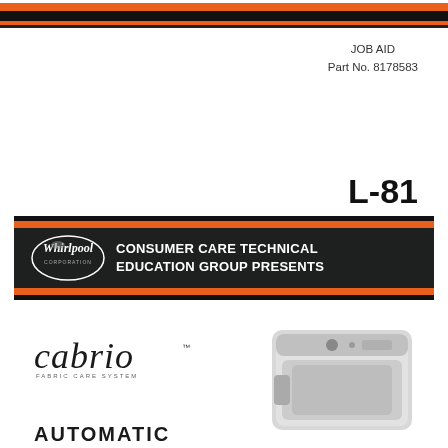[Figure (other): Top decorative stripe banner with orange and black horizontal stripes]
JOB AID
Part No. 8178583
L-81
[Figure (logo): Whirlpool Corporation logo with oval emblem and Consumer Care Technical Education Group Presents banner]
[Figure (logo): cabrio FABRIC CARE SYSTEM logo in italic serif font]
[Figure (photo): Top-loading Whirlpool Cabrio washing machine, light gray/white color]
AUTOMATIC